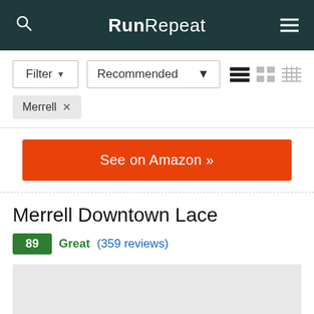RunRepeat
Filter ▼   Recommended ▼
Merrell ×
See on Amazon »
Merrell Downtown Lace
89  Great (359 reviews)
[Figure (photo): Product image placeholder (gray rectangle)]